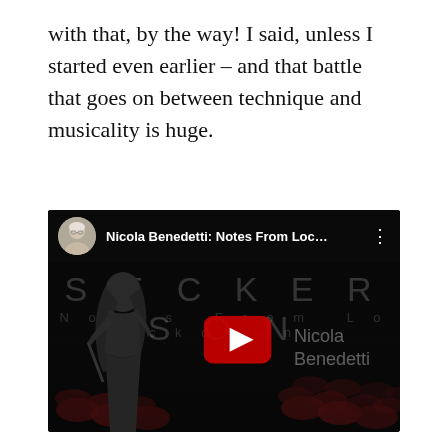with that, by the way! I said, unless I started even earlier – and that battle that goes on between technique and musicality is huge.
[Figure (screenshot): YouTube video embed thumbnail showing 'Nicola Benedetti: Notes From Loc...' with a channel avatar (older man with glasses), SECKERSON watermark text, 'Notes From Lockdown' subtitle, a silhouette of a woman holding a violin in a dark theater with red seats, a YouTube play button, and 'Nicola Benedetti' name overlay.]